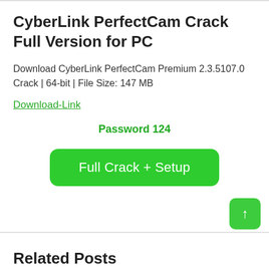CyberLink PerfectCam Crack Full Version for PC
Download CyberLink PerfectCam Premium 2.3.5107.0 Crack | 64-bit | File Size: 147 MB
Download-Link
Password 124
[Figure (other): Green button labeled 'Full Crack + Setup']
[Figure (other): Green scroll-to-top button with upward arrow]
Related Posts